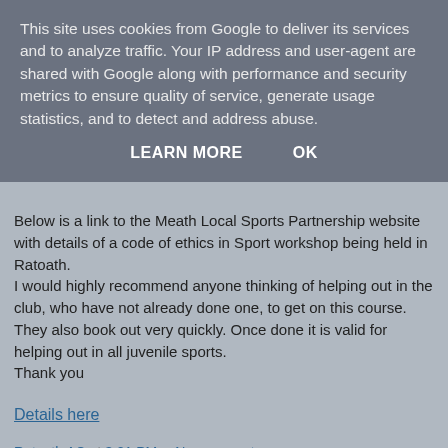This site uses cookies from Google to deliver its services and to analyze traffic. Your IP address and user-agent are shared with Google along with performance and security metrics to ensure quality of service, generate usage statistics, and to detect and address abuse.
LEARN MORE    OK
Below is a link to the Meath Local Sports Partnership website with details of a code of ethics in Sport workshop being held in Ratoath.
I would highly recommend anyone thinking of helping out in the club, who have not already done one, to get on this course. They also book out very quickly. Once done it is valid for helping out in all juvenile sports.
Thank you
Details here
Ratoath AC at 3:01 PM    No comments:
Share